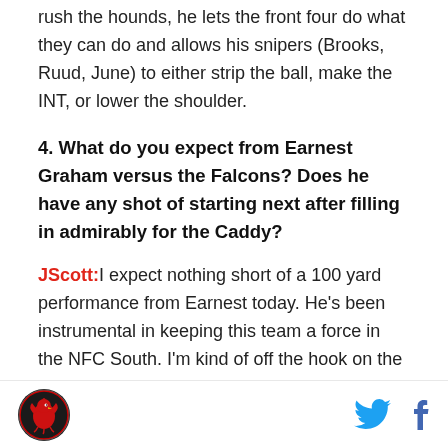rush the hounds, he lets the front four do what they can do and allows his snipers (Brooks, Ruud, June) to either strip the ball, make the INT, or lower the shoulder.
4. What do you expect from Earnest Graham versus the Falcons? Does he have any shot of starting next after filling in admirably for the Caddy?
JScott: I expect nothing short of a 100 yard performance from Earnest today. He's been instrumental in keeping this team a force in the NFC South. I'm kind of off the hook on the second part of this question, as he will start next season by default as
[Figure (logo): Sports blog logo - red bird/hawk on black circle background]
[Figure (other): Twitter bird icon in blue and Facebook f icon in blue]